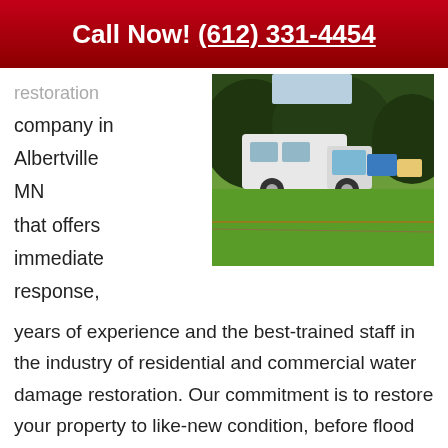Call Now! (612) 331-4454
restoration company in Albertville MN that offers immediate response,
[Figure (photo): A white service van parked on a green lawn with equipment and hoses laid out, showing a water damage restoration job site.]
years of experience and the best-trained staff in the industry of residential and commercial water damage restoration. Our commitment is to restore your property to like-new condition, before flood damage. We work with most insurance companies and we'll help guide you through the claim process.
At Done Right, we will be with you through every part of the Albertville water damage restoration process including the